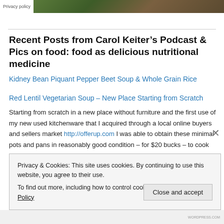Privacy policy
Recent Posts from Carol Keiter’s Podcast & Pics on food: food as delicious nutritional medicine
Kidney Bean Piquant Pepper Beet Soup & Whole Grain Rice
Red Lentil Vegetarian Soup – New Place Starting from Scratch
Starting from scratch in a new place without furniture and the first use of my new used kitchenware that I acquired through a local online buyers and sellers market http://offerup.com I was able to obtain these minimal pots and pans in reasonably good condition – for $20 bucks – to cook
Privacy & Cookies: This site uses cookies. By continuing to use this website, you agree to their use.
To find out more, including how to control cookies, see here: Cookie Policy
Close and accept